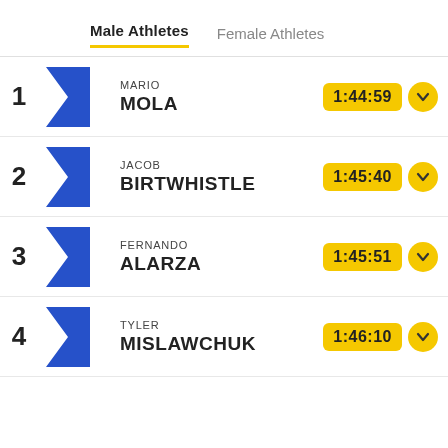Male Athletes | Female Athletes
1 MARIO MOLA 1:44:59
2 JACOB BIRTWHISTLE 1:45:40
3 FERNANDO ALARZA 1:45:51
4 TYLER MISLAWCHUK 1:46:10